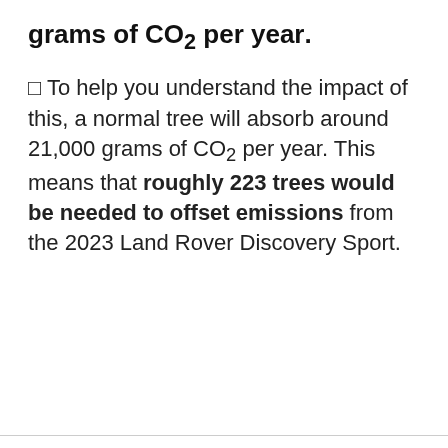grams of CO2 per year.
☐ To help you understand the impact of this, a normal tree will absorb around 21,000 grams of CO2 per year. This means that roughly 223 trees would be needed to offset emissions from the 2023 Land Rover Discovery Sport.